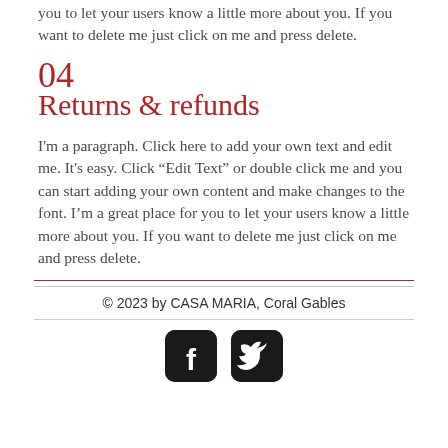you to let your users know a little more about you. If you want to delete me just click on me and press delete.
04
Returns & refunds
I'm a paragraph. Click here to add your own text and edit me. It's easy. Click “Edit Text” or double click me and you can start adding your own content and make changes to the font. I’m a great place for you to let your users know a little more about you. If you want to delete me just click on me and press delete.
© 2023 by CASA MARIA, Coral Gables
[Figure (illustration): Social media icons: Facebook (f) and Twitter (bird) in dark rounded square buttons]